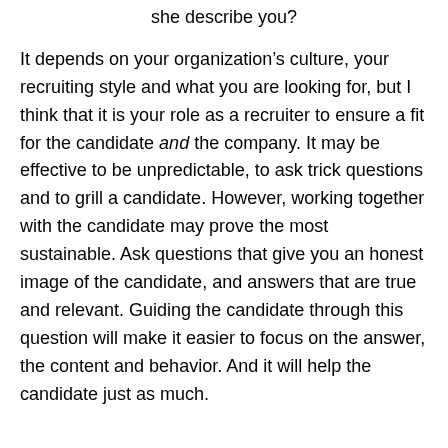she describe you?
It depends on your organization’s culture, your recruiting style and what you are looking for, but I think that it is your role as a recruiter to ensure a fit for the candidate and the company. It may be effective to be unpredictable, to ask trick questions and to grill a candidate. However, working together with the candidate may prove the most sustainable. Ask questions that give you an honest image of the candidate, and answers that are true and relevant. Guiding the candidate through this question will make it easier to focus on the answer, the content and behavior. And it will help the candidate just as much.